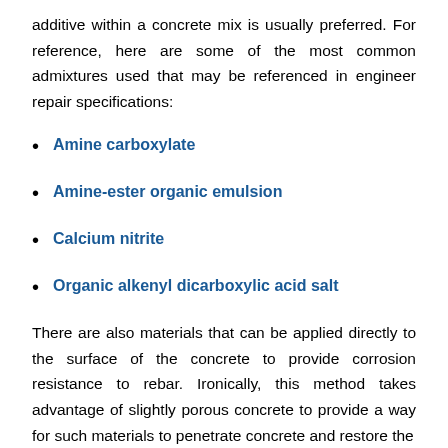additive within a concrete mix is usually preferred. For reference, here are some of the most common admixtures used that may be referenced in engineer repair specifications:
Amine carboxylate
Amine-ester organic emulsion
Calcium nitrite
Organic alkenyl dicarboxylic acid salt
There are also materials that can be applied directly to the surface of the concrete to provide corrosion resistance to rebar. Ironically, this method takes advantage of slightly porous concrete to provide a way for such materials to penetrate concrete and restore the